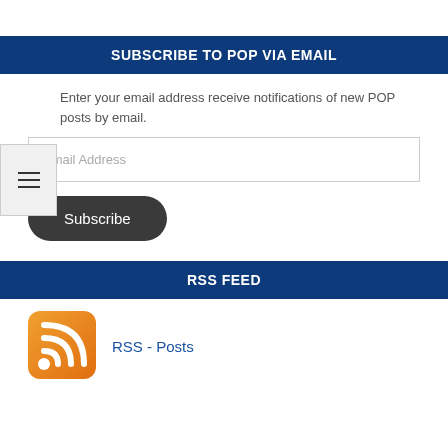SUBSCRIBE TO POP VIA EMAIL
Enter your email address receive notifications of new POP posts by email.
Email Address
Subscribe
RSS FEED
RSS - Posts